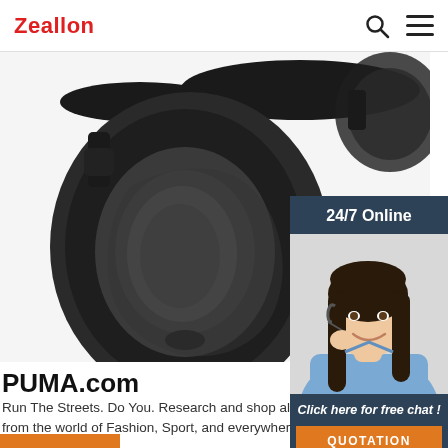Zeallon
[Figure (photo): Close-up photo of black over-ear headphones, showing the ear cup and headband detail on white background]
[Figure (photo): 24/7 Online customer service chat widget showing a smiling woman wearing a headset, with 'Click here for free chat!' text and 'QUOTATION' button]
PUMA.com
Run The Streets. Do You. Research and shop all th… from the world of Fashion, Sport, and everywhere…
Get Price